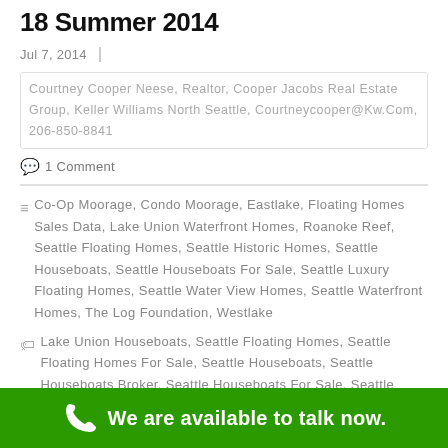18 Summer 2014
Jul 7, 2014
Courtney Cooper Neese, Realtor, Cooper Jacobs Real Estate Group, Keller Williams North Seattle, Courtneycooper@Kw.Com, 206-850-8841
1 Comment
Co-Op Moorage, Condo Moorage, Eastlake, Floating Homes Sales Data, Lake Union Waterfront Homes, Roanoke Reef, Seattle Floating Homes, Seattle Historic Homes, Seattle Houseboats, Seattle Houseboats For Sale, Seattle Luxury Floating Homes, Seattle Water View Homes, Seattle Waterfront Homes, The Log Foundation, Westlake
Lake Union Houseboats, Seattle Floating Homes, Seattle Floating Homes For Sale, Seattle Houseboats, Seattle Houseboats Broker, Seattle Houseboats For Sale, Seattle Houseboats Listings, Seattle Waterfront
We are available to talk now.